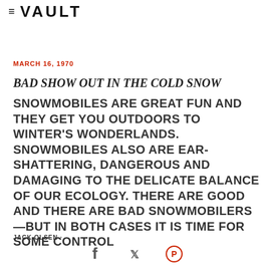≡ VAULT
MARCH 16, 1970
BAD SHOW OUT IN THE COLD SNOW
SNOWMOBILES ARE GREAT FUN AND THEY GET YOU OUTDOORS TO WINTER'S WONDERLANDS. SNOWMOBILES ALSO ARE EAR-SHATTERING, DANGEROUS AND DAMAGING TO THE DELICATE BALANCE OF OUR ECOLOGY. THERE ARE GOOD AND THERE ARE BAD SNOWMOBILERS—BUT IN BOTH CASES IT IS TIME FOR SOME CONTROL
JACK OLSEN ·
[Figure (other): Social media share icons: Facebook, Twitter, Pinterest]